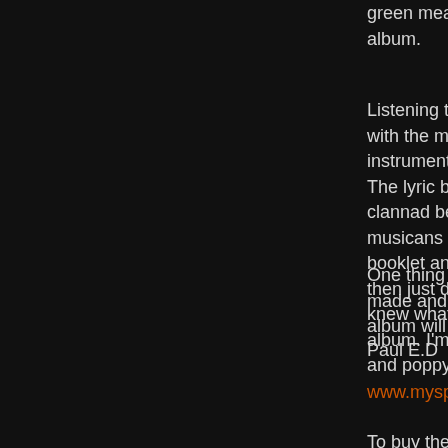green meadow (Zielono Lonka) the most most eclectic album.
Listening to this album really puts you in a mood, yes its with the music, it is like another instrument, in a sense y instrument folk album The lyric booklet has got the words on England and Poli clannad because thats what it sounds like. With Clanna musicans on the album, this is what this album sounds l booklet and does sound like something out of Resident then just disappearing. I heard the band music before i g knew what the music was like, but it is different when yo album. I'm not a huge folk fan, but i like the Clannad typ and poppy than some traditional folk and this album is li
One thing i like about the album, the nice digipack pack made and very impreesive. You can request songs from album will be played on the station
Paul E.D
www.myspace.com/hoboud
To buy the album
http://wsm.serpent.pl/sklep/albumik.php,alb_id,19608,W Hobouda,Hoboud
Tags: hoboud, hobouda, polish folk, polish music, Wskrzeszen